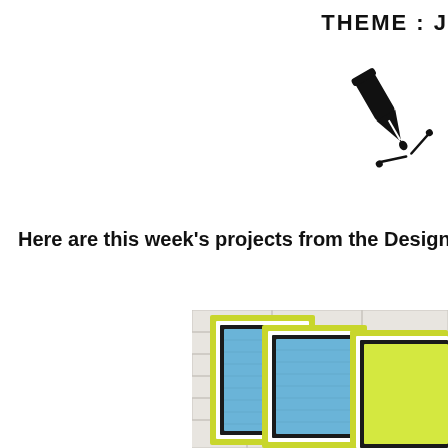THEME : J
[Figure (illustration): A black ink pen nib / calligraphy pen icon with decorative strokes, positioned in upper right area]
Here are this week's projects from the Design T
[Figure (photo): Photo of greeting cards with lime green borders and blue patterned inner panels, leaning against a white brick wall background, partially cropped on the right side]